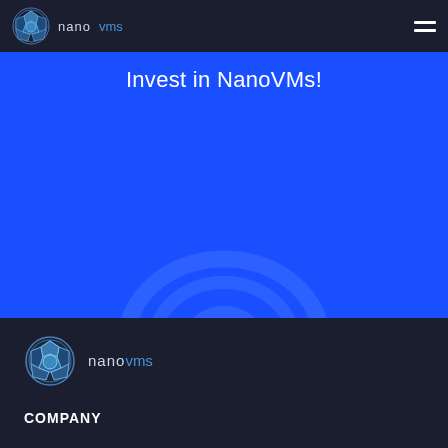nanovms
Invest in NanoVMs!
[Figure (illustration): Blue hero section with faint NanoVMs globe watermark/semicircle in lighter blue]
[Figure (logo): NanoVMs logo: a geometric globe icon in blue with 'nano' in light grey and 'vms' in blue text]
COMPANY